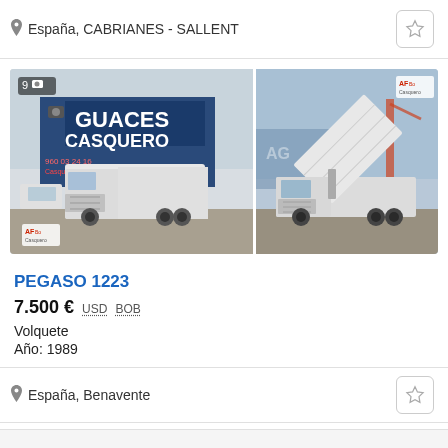España, CABRIANES - SALLENT
[Figure (photo): Two photos of a Pegaso 1223 truck. Left photo shows the truck with a box body parked in front of Guaces Casquero dealership. Right photo shows the same truck with a tipper body raised, at the same location.]
PEGASO 1223
7.500 € USD BOB
Volquete
Año: 1989
España, Benavente